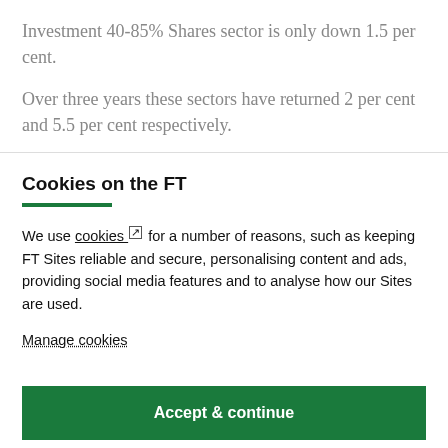Investment 40-85% Shares sector is only down 1.5 per cent.
Over three years these sectors have returned 2 per cent and 5.5 per cent respectively.
Cookies on the FT
We use cookies ⧉ for a number of reasons, such as keeping FT Sites reliable and secure, personalising content and ads, providing social media features and to analyse how our Sites are used.
Manage cookies
Accept & continue